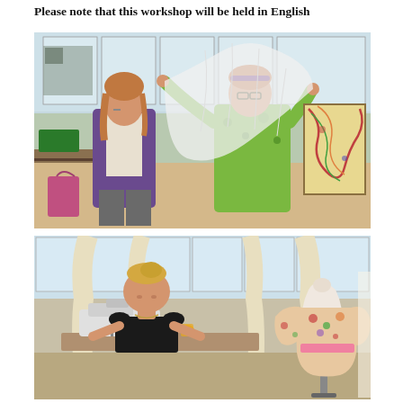Please note that this workshop will be held in English
[Figure (photo): Two women in a bright studio/workshop room. One woman on the left wears a purple cardigan and light top, looking at something. The woman on the right wears a green floral dress and glasses with a purple headband, holding up a large piece of white sheer fabric. Behind them is an abstract colorful painting and large windows.]
[Figure (photo): A woman with blonde hair in a bun, wearing a black sleeveless top, sits at a sewing machine working. To the right stands a dress mannequin wearing a colorful floral dress with a pink sash. Large windows with cream curtains are visible in the background.]